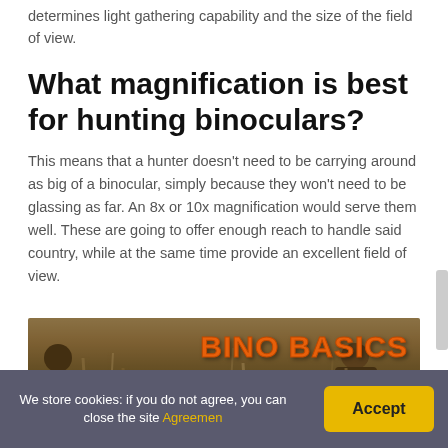determines light gathering capability and the size of the field of view.
What magnification is best for hunting binoculars?
This means that a hunter doesn't need to be carrying around as big of a binocular, simply because they won't need to be glassing as far. An 8x or 10x magnification would serve them well. These are going to offer enough reach to handle said country, while at the same time provide an excellent field of view.
[Figure (screenshot): Video thumbnail showing two hunters with binoculars in a field, with orange text 'BINO BASICS' and a YouTube play button]
We store cookies: if you do not agree, you can close the site Agreemen